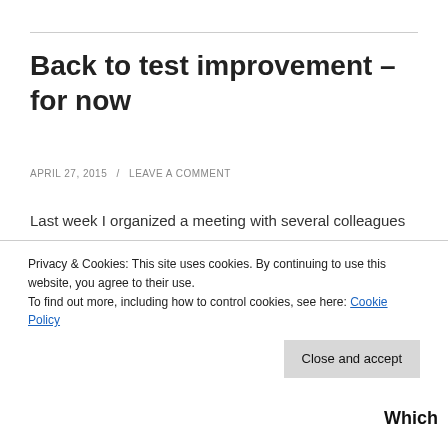Back to test improvement – for now
APRIL 27, 2015  /  LEAVE A COMMENT
Last week I organized a meeting with several colleagues who have, just like me, several years of experience in the improvement field. I'll try to cover the topics we discussed in a number of posts, this is the first. The meeting turned into a great discussion about test
Privacy & Cookies: This site uses cookies. By continuing to use this website, you agree to their use.
To find out more, including how to control cookies, see here: Cookie Policy
Close and accept
Which